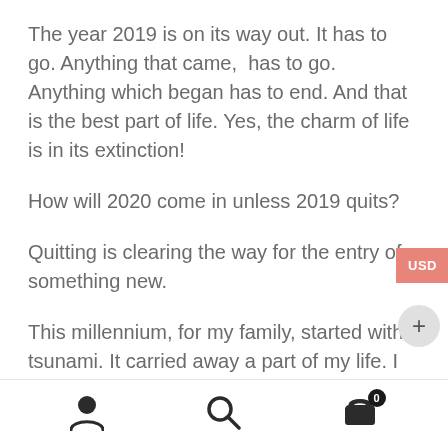The year 2019 is on its way out. It has to go. Anything that came,  has to go.  Anything which began has to end. And that is the best part of life. Yes, the charm of life is in its extinction!
How will 2020 come in unless 2019 quits?
Quitting is clearing the way for the entry of something new.
This millennium, for my family, started with a tsunami. It carried away a part of my life. I
USD  +  [user icon] [search icon] [cart icon 0]